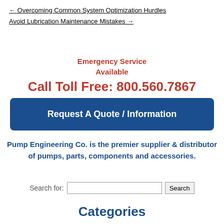← Overcoming Common System Optimization Hurdles
Avoid Lubrication Maintenance Mistakes →
Emergency Service Available
Call Toll Free: 800.560.7867
Request A Quote / Information
Pump Engineering Co. is the premier supplier & distributor of pumps, parts, components and accessories.
Search for:
Categories